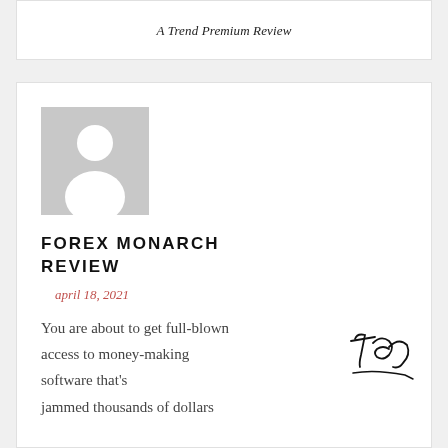A Trend Premium Review
[Figure (illustration): Generic grey avatar placeholder image with white silhouette of a person]
FOREX MONARCH REVIEW
april 18, 2021
You are about to get full-blown access to money-making software that's jammed thousands of dollars
[Figure (illustration): Handwritten cursive 'Top' signature with underline flourish]